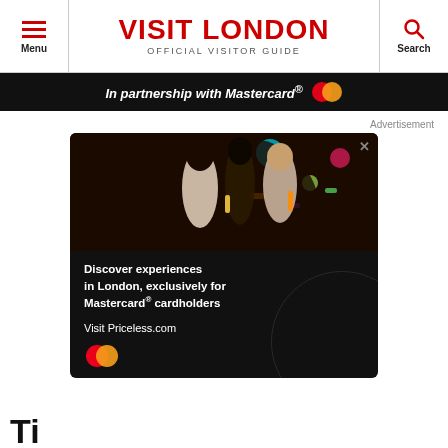VISIT LONDON | OFFICIAL VISITOR GUIDE | Menu | Search
[Figure (infographic): In partnership with Mastercard® banner with Mastercard logo (two overlapping circles, red and orange)]
Advertisement
[Figure (illustration): Mastercard advertisement: three women enjoying drinks with colorful background. Text: 'Discover experiences in London, exclusively for Mastercard® cardholders. Visit Priceless.com'. Mastercard logo at bottom left. Close (X) button top right.]
Ti